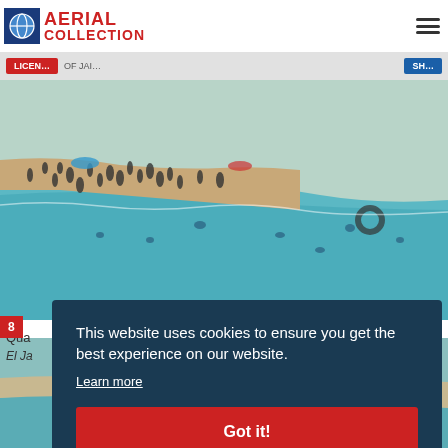[Figure (logo): Aerial Collection logo with globe icon, red text AERIAL COLLECTION]
[Figure (photo): Aerial view of crowded beach with swimmers in turquoise water, people on sandy shore]
Qua
El Ja
8
[Figure (photo): Aerial view of beach with swimmers, bottom portion of page]
This website uses cookies to ensure you get the best experience on our website.
Learn more
Got it!